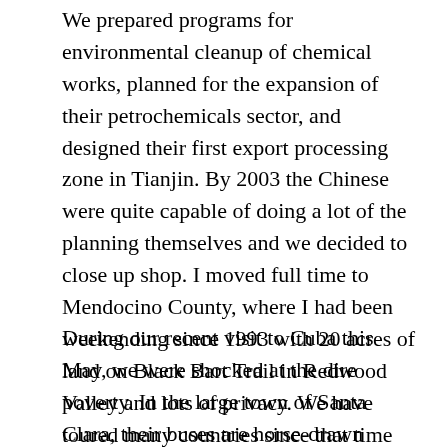We prepared programs for environmental cleanup of chemical works, planned for the expansion of their petrochemicals sector, and designed their first export processing zone in Tianjin. By 2003 the Chinese were quite capable of doing a lot of the planning themselves and we decided to close up shop. I moved full time to Mendocino County, where I had been weekending since 1993 with 20 acres of land on Black Bart Trail in Redwood Valley and lots of privacy. We have toured many countries since that time including Uzbekistan and Kygyristan in Central Asia, Iran, Burma, Cambodia, Turkey, Egypt, Jordan, and Botswana.
During our recent visit to Cuba this May, we were shocked at the dire poverty. In the large town of Santa Clara, their buses are horse-drawn wagons with 8 places to sit. While at least they have motorized transport in Havana, their buildings are rapidly deteriorating without maintenance and the lack of local